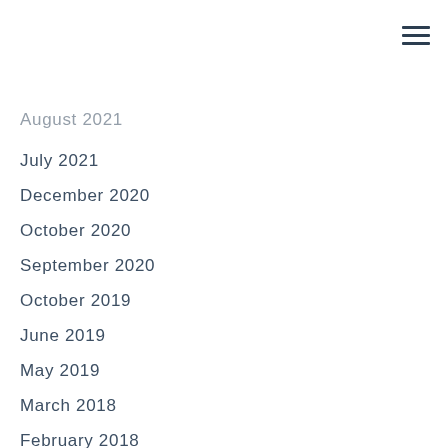August 2021
July 2021
December 2020
October 2020
September 2020
October 2019
June 2019
May 2019
March 2018
February 2018
January 2018
November 2017
June 2017
May 2017
March 2017
February 2017